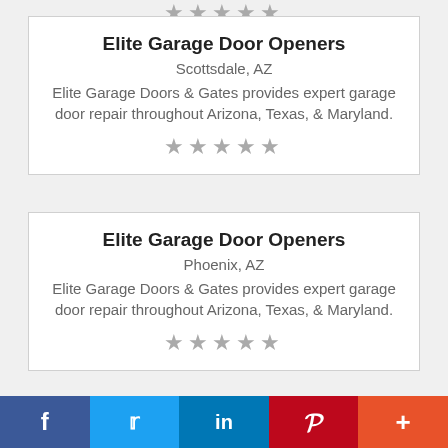★★★★★ (partial, top card cut off)
Elite Garage Door Openers
Scottsdale, AZ
Elite Garage Doors & Gates provides expert garage door repair throughout Arizona, Texas, & Maryland.
★★★★★
Elite Garage Door Openers
Phoenix, AZ
Elite Garage Doors & Gates provides expert garage door repair throughout Arizona, Texas, & Maryland.
★★★★★
Elite Garage Door Openers Tucson